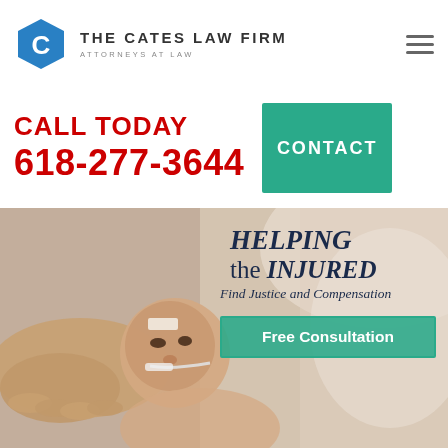[Figure (logo): The Cates Law Firm hexagon logo with letter C, blue hexagon shape, with firm name 'THE CATES LAW FIRM' and subtitle 'ATTORNEYS AT LAW']
THE CATES LAW FIRM
ATTORNEYS AT LAW
CALL TODAY
618-277-3644
CONTACT
[Figure (photo): A newborn baby in a hospital NICU with medical tubes, being held by a hand, soft light background]
HELPING the INJURED Find Justice and Compensation
Free Consultation